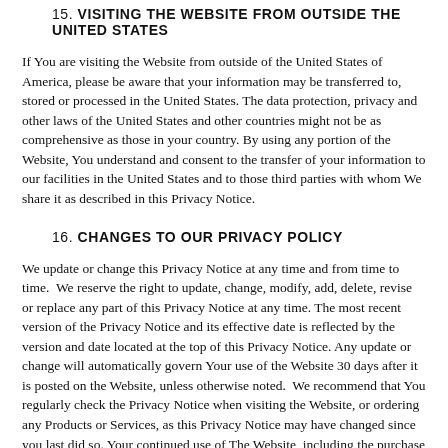15. VISITING THE WEBSITE FROM OUTSIDE THE UNITED STATES
If You are visiting the Website from outside of the United States of America, please be aware that your information may be transferred to, stored or processed in the United States. The data protection, privacy and other laws of the United States and other countries might not be as comprehensive as those in your country. By using any portion of the Website, You understand and consent to the transfer of your information to our facilities in the United States and to those third parties with whom We share it as described in this Privacy Notice.
16. CHANGES TO OUR PRIVACY POLICY
We update or change this Privacy Notice at any time and from time to time.  We reserve the right to update, change, modify, add, delete, revise or replace any part of this Privacy Notice at any time. The most recent version of the Privacy Notice and its effective date is reflected by the version and date located at the top of this Privacy Notice. Any update or change will automatically govern Your use of the Website 30 days after it is posted on the Website, unless otherwise noted.  We recommend that You regularly check the Privacy Notice when visiting the Website, or ordering any Products or Services, as this Privacy Notice may have changed since you last did so. Your continued use of The Website, including the purchase of any Products or Services through the Website, after the Privacy Notice is